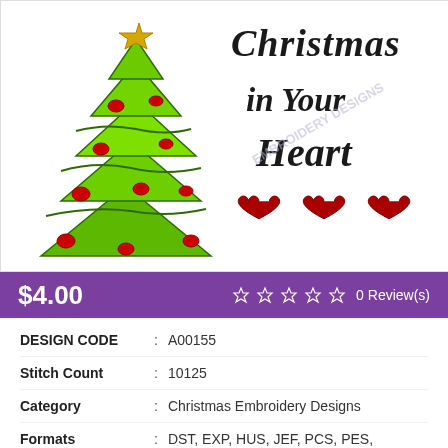[Figure (illustration): Embroidery design product image showing a green Christmas tree with red ornaments on the left, and text 'Christmas in Your Heart' with three red embroidered hearts below on the right. A watermark reads 'EMBROIDERY DESIGNS'.]
$4.00  ☆ ☆ ☆ ☆ ☆ 0 Review(s)
| DESIGN CODE | : | A00155 |
| Stitch Count | : | 10125 |
| Category | : | Christmas Embroidery Designs |
| Formats | : | DST, EXP, HUS, JEF, PCS, PES, SEW, VIP, VP3 ,XXX |